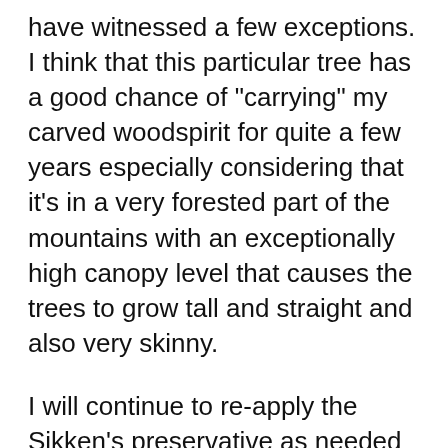have witnessed a few exceptions. I think that this particular tree has a good chance of "carrying" my carved woodspirit for quite a few years especially considering that it's in a very forested part of the mountains with an exceptionally high canopy level that causes the trees to grow tall and straight and also very skinny.
I will continue to re-apply the Sikken's preservative as needed in the coming years since I believe that Colin once explained how this coating also acts as a "band-aid" or artificial skin that protects the tree from various insects and disease. I look forward to watch it during the next several years, like watching a garden grow, I think that I'm gonna learn a lot from this experiment. But, like Colin said, it's bound to fold over the spirit at some point in the future. It'll be interesting to